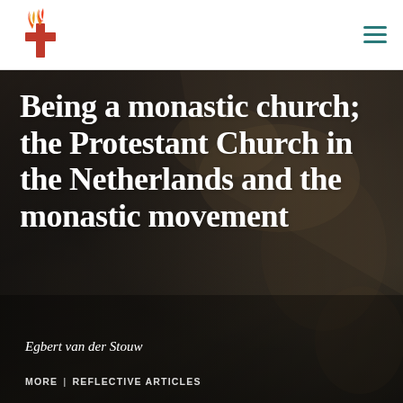Protestant Church in the Netherlands (logo + menu)
[Figure (photo): Dark blurred background photo suggesting people with musical instruments in a church setting, overlaid with large white title text]
Being a monastic church; the Protestant Church in the Netherlands and the monastic movement
Egbert van der Stouw
MORE | REFLECTIVE ARTICLES